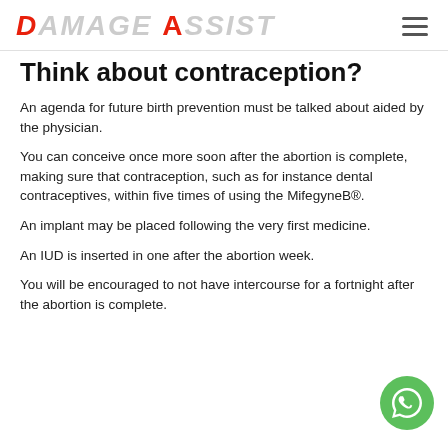DAMAGE ASSIST
Think about contraception?
An agenda for future birth prevention must be talked about aided by the physician.
You can conceive once more soon after the abortion is complete, making sure that contraception, such as for instance dental contraceptives, within five times of using the MifegyneB®.
An implant may be placed following the very first medicine.
An IUD is inserted in one after the abortion week.
You will be encouraged to not have intercourse for a fortnight after the abortion is complete.